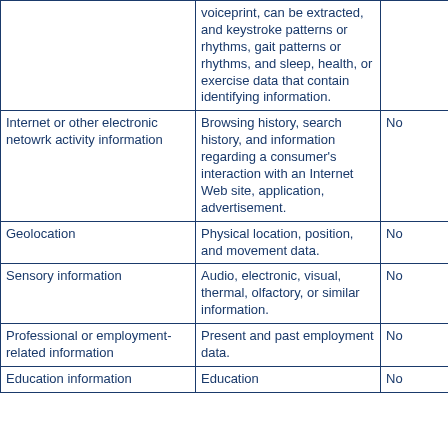| Category | Examples | Collected |
| --- | --- | --- |
|  | voiceprint, can be extracted, and keystroke patterns or rhythms, gait patterns or rhythms, and sleep, health, or exercise data that contain identifying information. |  |
| Internet or other electronic netowrk activity information | Browsing history, search history, and information regarding a consumer's interaction with an Internet Web site, application, advertisement. | No |
| Geolocation | Physical location, position, and movement data. | No |
| Sensory information | Audio, electronic, visual, thermal, olfactory, or similar information. | No |
| Professional or employment-related information | Present and past employment data. | No |
| Education information | Education | No |